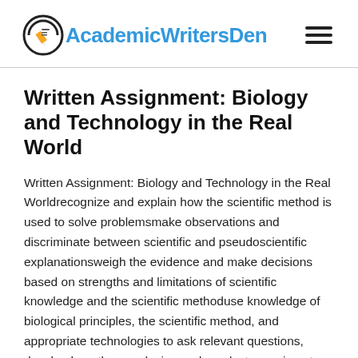AcademicWritersDen
Written Assignment: Biology and Technology in the Real World
Written Assignment: Biology and Technology in the Real Worldrecognize and explain how the scientific method is used to solve problemsmake observations and discriminate between scientific and pseudoscientific explanationsweigh the evidence and make decisions based on strengths and limitations of scientific knowledge and the scientific methoduse knowledge of biological principles, the scientific method, and appropriate technologies to ask relevant questions, develop hypotheses, design and conduct experiments, interpret results, and draw conclusions1. Select one of the topics listed below (a-e) 2. Find at least three